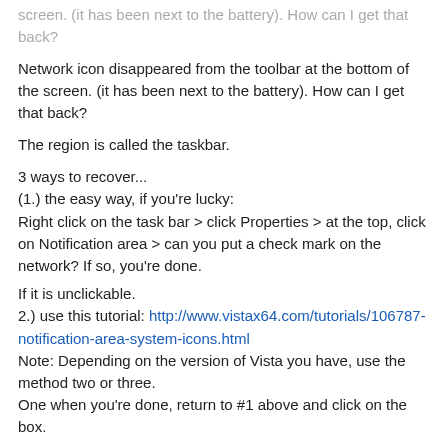screen. (it has been next to the battery). How can I get that back?
Network icon disappeared from the toolbar at the bottom of the screen. (it has been next to the battery). How can I get that back?
The region is called the taskbar.
3 ways to recover...
(1.) the easy way, if you're lucky:
Right click on the task bar > click Properties > at the top, click on Notification area > can you put a check mark on the network? If so, you're done.

If it is unclickable.
2.) use this tutorial: http://www.vistax64.com/tutorials/106787-notification-area-system-icons.html
Note: Depending on the version of Vista you have, use the method two or three.
One when you're done, return to #1 above and click on the box.

3.) do a restore ysytem. Choose the date at which the icon was present under your restore point.
Here is the tutorial: http://www.vistax64.com/tutorials/76905-system-restore-how.html
t-4-2
The toolbar icon/at the top of vista which was a media, recycle bin and various other icons disappeared. How can I get that back?
I do not take on the bar menu or the task of starting at the bottom of the screen with the column and making it look the same at all...